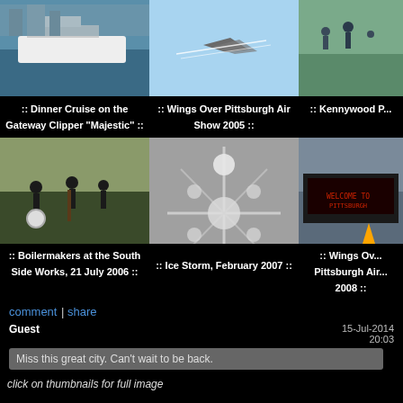[Figure (photo): Dinner Cruise on the Gateway Clipper boat on water with city skyline]
[Figure (photo): Military jets flying in formation at Pittsburgh Air Show 2005]
[Figure (photo): Kennywood Park photo with people on a pier/bridge]
:: Dinner Cruise on the Gateway Clipper "Majestic" ::
:: Wings Over Pittsburgh Air Show 2005 ::
:: Kennywood P...
[Figure (photo): Boilermakers jazz band performing at South Side Works outdoor stage]
[Figure (photo): Ice Storm February 2007 - ice crystals on a surface]
[Figure (photo): Wings Over Pittsburgh Air Show 2008 - LED sign board truck]
:: Boilermakers at the South Side Works, 21 July 2006 ::
:: Ice Storm, February 2007 ::
:: Wings Ov... Pittsburgh Air... 2008 ::
comment | share
Guest
15-Jul-2014
20:03
Miss this great city. Can't wait to be back.
click on thumbnails for full image